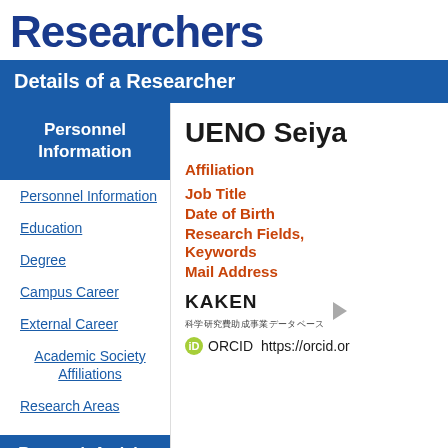Researchers
Details of a Researcher
Personnel Information
Personnel Information
Education
Degree
Campus Career
External Career
Academic Society Affiliations
Research Areas
UENO Seiya
Affiliation
Job Title
Date of Birth
Research Fields, Keywords
Mail Address
[Figure (logo): KAKEN logo — 科学研究費助成事業データベース — with arrow button]
ORCID  https://orcid.or
Research Activity
Education